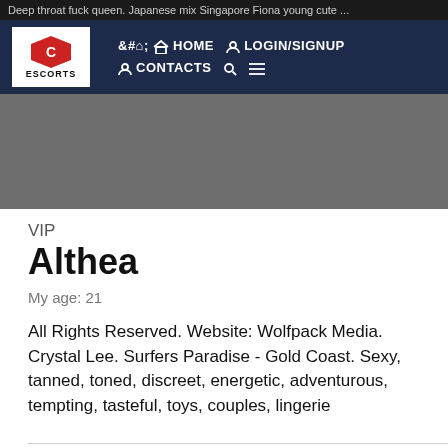Deep throat fuck queen. Japanese mix Singapore Fiona young cute ...
[Figure (logo): Escorts website logo with red hexagonal icon and navigation bar with HOME, LOGIN/SIGNUP, CONTACTS icons on dark navy background]
[Figure (photo): Gray placeholder image area for profile photo]
VIP
Althea
My age: 21
All Rights Reserved. Website: Wolfpack Media. Crystal Lee. Surfers Paradise - Gold Coast. Sexy, tanned, toned, discreet, energetic, adventurous, tempting, tasteful, toys, couples, lingerie